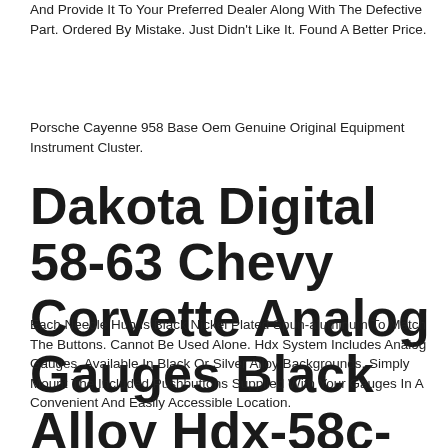And Provide It To Your Preferred Dealer Along With The Defective Part. Ordered By Mistake. Just Didn't Like It. Found A Better Price.
Porsche Cayenne 958 Base Oem Genuine Original Equipment Instrument Cluster.
Dakota Digital 58-63 Chevy Corvette Analog Gauges Black Alloy Hdx-58c-vet-k
Each Needle Hub Is Black Nickel Plated Spun-aluminum To Match The Buttons. Cannot Be Used Alone. Hdx System Includes Analog Gauges. Available In Black Or Silver Alloy Backgrounds. Simply Mount The Included Pushbuttons Supplied With Your Gauges In A Convenient And Easily Accessible Location.